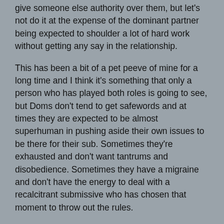give someone else authority over them, but let's not do it at the expense of the dominant partner being expected to shoulder a lot of hard work without getting any say in the relationship.
This has been a bit of a pet peeve of mine for a long time and I think it's something that only a person who has played both roles is going to see, but Doms don't tend to get safewords and at times they are expected to be almost superhuman in pushing aside their own issues to be there for their sub. Sometimes they're exhausted and don't want tantrums and disobedience. Sometimes they have a migraine and don't have the energy to deal with a recalcitrant submissive who has chosen that moment to throw out the rules.
And it's hard being in charge all the time. It really is. I think the dominant partner absolutely needs to have limits, and needs to be able to say, "I'm not dealing with this right